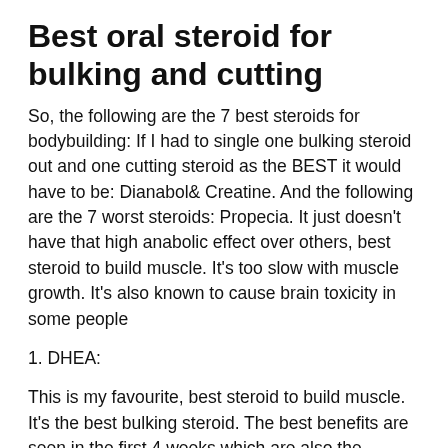Best oral steroid for bulking and cutting
So, the following are the 7 best steroids for bodybuilding: If I had to single one bulking steroid out and one cutting steroid as the BEST it would have to be: Dianabol& Creatine. And the following are the 7 worst steroids: Propecia. It just doesn't have that high anabolic effect over others, best steroid to build muscle. It's too slow with muscle growth. It's also known to cause brain toxicity in some people
1. DHEA:
This is my favourite, best steroid to build muscle. It's the best bulking steroid. The best benefits are seen in the first 4 weeks which are also the longest on any steroid,